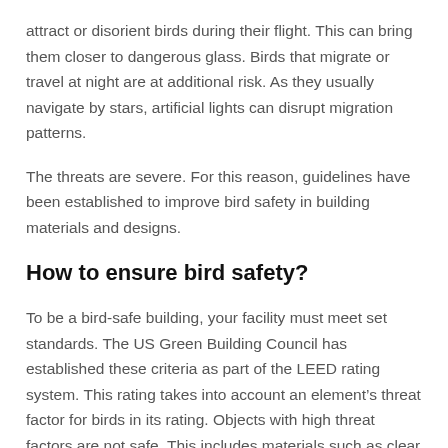attract or disorient birds during their flight. This can bring them closer to dangerous glass. Birds that migrate or travel at night are at additional risk. As they usually navigate by stars, artificial lights can disrupt migration patterns.
The threats are severe. For this reason, guidelines have been established to improve bird safety in building materials and designs.
How to ensure bird safety?
To be a bird-safe building, your facility must meet set standards. The US Green Building Council has established these criteria as part of the LEED rating system. This rating takes into account an element’s threat factor for birds in its rating. Objects with high threat factors are not safe. This includes materials such as clear glass and unshielded lights.
According to American Conservatory of Birds, “bird friendly” is